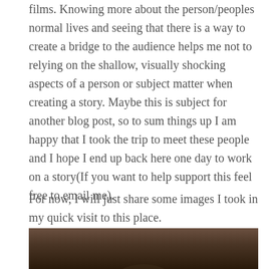films. Knowing more about the person/peoples normal lives and seeing that there is a way to create a bridge to the audience helps me not to relying on the shallow, visually shocking aspects of a person or subject matter when creating a story. Maybe this is subject for another blog post, so to sum things up I am happy that I took the trip to meet these people and I hope I end up back here one day to work on a story(If you want to help support this feel free to email me).
For now, I will just share some images I took in my quick visit to this place.
[Figure (photo): Partial photo visible at the bottom of the page, appears to show a person, dark/warm tones.]